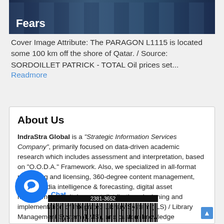[Figure (photo): Dark blue nighttime photo of an oil rig platform with text overlay 'Fears']
Cover Image Attribute:  The PARAGON L1115 is located some 100 km off the shore of Qatar. / Source: SORDOILLET PATRICK - TOTAL Oil prices set...  Readmore
About Us
IndraStra Global is a "Strategic Information Services Company", primarily focused on data-driven academic research which includes assessment and interpretation, based on "O.O.D.A." Framework. Also, we specialized in all-format publishing and licensing, 360-degree content management, online media intelligence & forecasting, digital asset management, digital content distribution, designing and implementation of Integrated Library System (ILS) / Library Management System (LMS), and custom knowledge repositories (Mediawiki, OJS-PKP, Omeka, and OMP-PKP).
[Figure (other): Barcode image with number 2381-3652 and Chat button overlay]